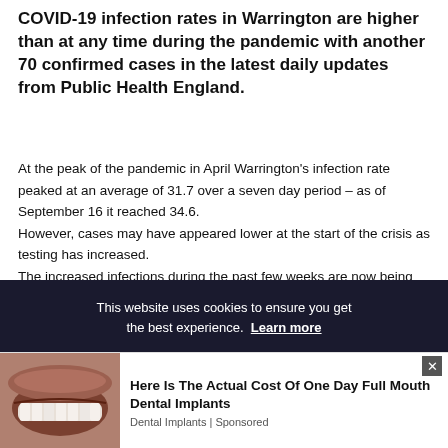COVID-19 infection rates in Warrington are higher than at any time during the pandemic with another 70 confirmed cases in the latest daily updates from Public Health England.
At the peak of the pandemic in April Warrington's infection rate peaked at an average of 31.7 over a seven day period – as of September 16 it reached 34.6.
However, cases may have appeared lower at the start of the crisis as testing has increased.
The increased infections during the past few weeks are now being reflected in increasing admissions at Warrington & Halton Hospitals.
[Figure (screenshot): Cookie consent banner overlay: 'This website uses cookies to ensure you get the best experience. Learn more']
[Figure (photo): Advertisement banner showing a close-up of a person's mouth with dental implants, with text 'Here Is The Actual Cost Of One Day Full Mouth Dental Implants' and 'Dental Implants | Sponsored']